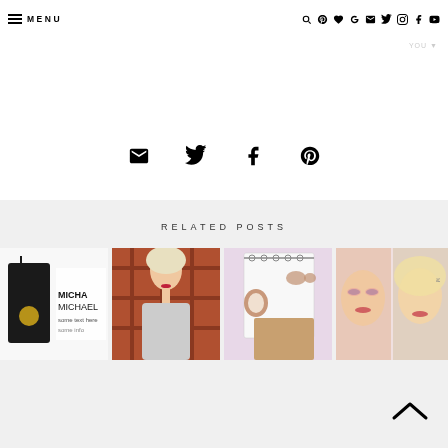MENU
[Figure (illustration): Social share icons: email, twitter, facebook, pinterest]
RELATED POSTS
[Figure (photo): Related post thumbnail 1: Michael Kors black handbag with text]
[Figure (photo): Related post thumbnail 2: Blonde woman in red plaid shirt]
[Figure (photo): Related post thumbnail 3: Flatlay with notebook, watch, and makeup]
[Figure (photo): Related post thumbnail 4: Blonde woman beauty/makeup photo collage]